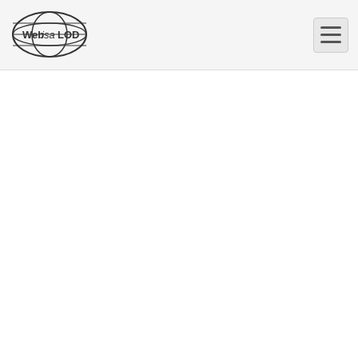WebIsaLOD logo and navigation
| Concept (Left) | ID (Left) | Concept (Right) | Score | ID (Right) |
| --- | --- | --- | --- | --- |
| gas culture (partial) | isap:… |  |  | isap:… |
| common issue | isap:471064… | atmospheric oxygen |  | isap:4… |
| fluid | isap:465770668 | oilfield product | 0.424708 | isap:5… |
| ailment | isap:235380… | real life |  | isap:1… |
| many different sector | isap:211768213 | mixture of h2 | 0.424596 | isap:5… |
|  |  | hydrogen compound |  | isap:3… |
| unconventional oil | isap:281623… |  |  |  |
|  |  | flow rate |  | isap:1… |
| body | isap:251255775 |  | 0.424174 |  |
|  |  | mixture of neon |  | isap:5… |
| intestinal discomfort | isap:237436… |  |  |  |
|  |  | electric stove |  | isap:3… |
| energy import | isap:212033978 |  | 0.423821 |  |
|  |  | methane ch4 |  | isap:2… |
| abdominal discomfort | isap:237436… |  |  |  |
|  |  | chlorofluorocarbon |  | isap:3… |